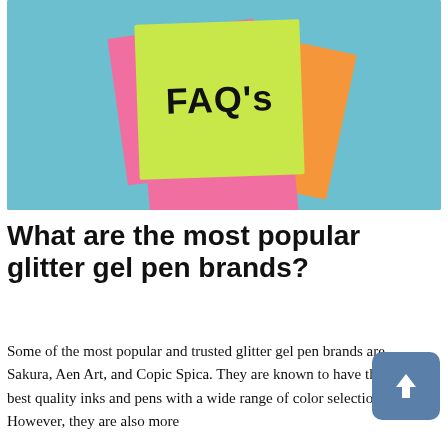[Figure (photo): Stack of colorful sticky notes (green on top with 'FAQ's' written in marker, pink and orange underneath) on a blue background]
What are the most popular glitter gel pen brands?
Some of the most popular and trusted glitter gel pen brands are Sakura, Aen Art, and Copic Spica. They are known to have the best quality inks and pens with a wide range of color selections. However, they are also more